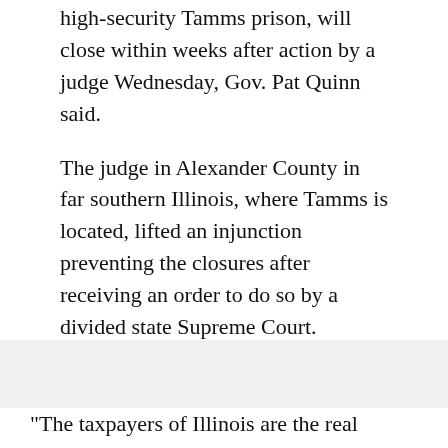high-security Tamms prison, will close within weeks after action by a judge Wednesday, Gov. Pat Quinn said.
The judge in Alexander County in far southern Illinois, where Tamms is located, lifted an injunction preventing the closures after receiving an order to do so by a divided state Supreme Court.
It allows Quinn to shutter Tamms, which opened in 1998; the women's lockup in Dwight; two juvenile detention centers and three inmate halfway houses to save money in a budget crisis.
"The taxpayers of Illinois are the real winners today," the Democratic governor said in a statement. "O...